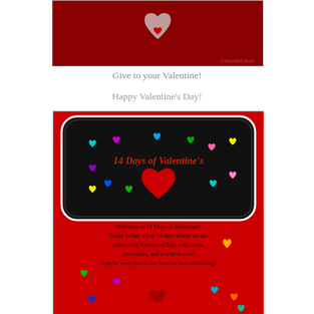[Figure (photo): Close-up photo of a clear heart-shaped soap/mold with a small red heart inside, placed on red fabric.]
Give to your Valentine!
Happy Valentine's Day!
[Figure (illustration): Valentine's Day promotional image with red background, black ornate badge reading '14 Days of Valentine's', colorful hearts scattered throughout, and text: 'Welcome to 14 Days of Valentines! Today is Day 10 of 14 days where we are celebrating Valentines Day with treats, chocolates, and a craft or two! Stop by everyday to see how we are celebrating!']